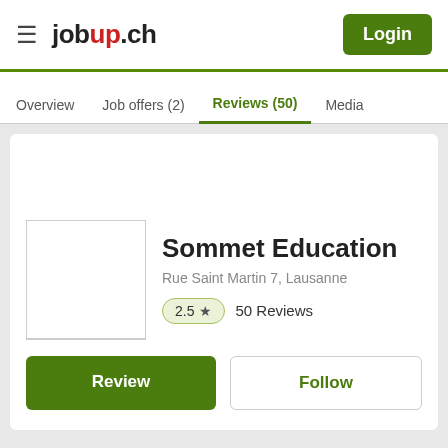jobup.ch
Overview  Job offers (2)  Reviews (50)  Media
Sommet Education
Rue Saint Martin 7, Lausanne
2.5 ★  50 Reviews
Review
Follow